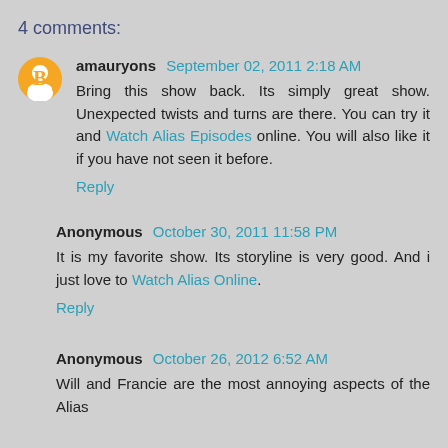4 comments:
amauryons September 02, 2011 2:18 AM
Bring this show back. Its simply great show. Unexpected twists and turns are there. You can try it and Watch Alias Episodes online. You will also like it if you have not seen it before.
Reply
Anonymous October 30, 2011 11:58 PM
It is my favorite show. Its storyline is very good. And i just love to Watch Alias Online.
Reply
Anonymous October 26, 2012 6:52 AM
Will and Francie are the most annoying aspects of the Alias